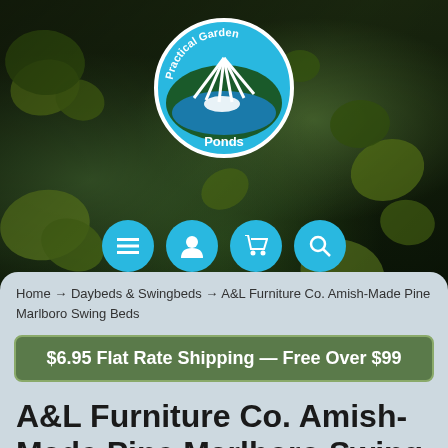[Figure (screenshot): Hero image of lily pads on dark pond water with Practical Garden Ponds logo centered, and navigation icon buttons below]
Home → Daybeds & Swingbeds → A&L Furniture Co. Amish-Made Pine Marlboro Swing Beds
$6.95 Flat Rate Shipping — Free Over $99
A&L Furniture Co. Amish-Made Pine Marlboro Swing